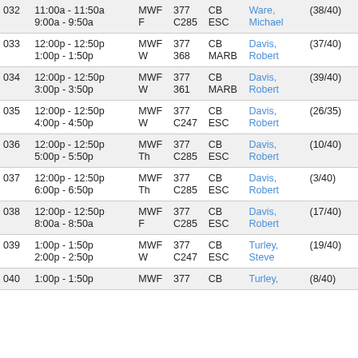| Sec | Time | Days | Room | Bldg | Instructor | Enrollment |
| --- | --- | --- | --- | --- | --- | --- |
| 032 | 11:00a - 11:50a
9:00a - 9:50a | MWF
F | 377
C285 | CB
ESC | Ware, Michael | (38/40) |
| 033 | 12:00p - 12:50p
1:00p - 1:50p | MWF
W | 377
368 | CB
MARB | Davis, Robert | (37/40) |
| 034 | 12:00p - 12:50p
3:00p - 3:50p | MWF
W | 377
361 | CB
MARB | Davis, Robert | (39/40) |
| 035 | 12:00p - 12:50p
4:00p - 4:50p | MWF
W | 377
C247 | CB
ESC | Davis, Robert | (26/35) |
| 036 | 12:00p - 12:50p
5:00p - 5:50p | MWF
Th | 377
C285 | CB
ESC | Davis, Robert | (10/40) |
| 037 | 12:00p - 12:50p
6:00p - 6:50p | MWF
Th | 377
C285 | CB
ESC | Davis, Robert | (3/40) |
| 038 | 12:00p - 12:50p
8:00a - 8:50a | MWF
F | 377
C285 | CB
ESC | Davis, Robert | (17/40) |
| 039 | 1:00p - 1:50p
2:00p - 2:50p | MWF
W | 377
C247 | CB
ESC | Turley, Steve | (19/40) |
| 040 | 1:00p - 1:50p | MWF | 377 | CB | Turley, | (8/40) |